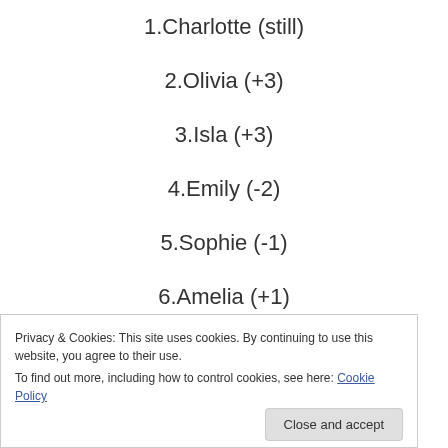1.Charlotte (still)
2.Olivia (+3)
3.Isla (+3)
4.Emily (-2)
5.Sophie (-1)
6.Amelia (+1)
7.Ella (+3)
Privacy & Cookies: This site uses cookies. By continuing to use this website, you agree to their use.
To find out more, including how to control cookies, see here: Cookie Policy
Close and accept